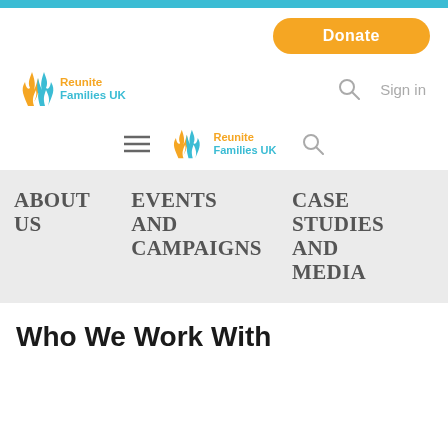Donate
[Figure (logo): Reunite Families UK logo with orange and teal flame-like figures icon and text 'Reunite Families UK']
Sign in
[Figure (logo): Reunite Families UK mobile logo with hamburger menu icon and search icon]
ABOUT US
EVENTS AND CAMPAIGNS
CASE STUDIES AND MEDIA
Who We Work With